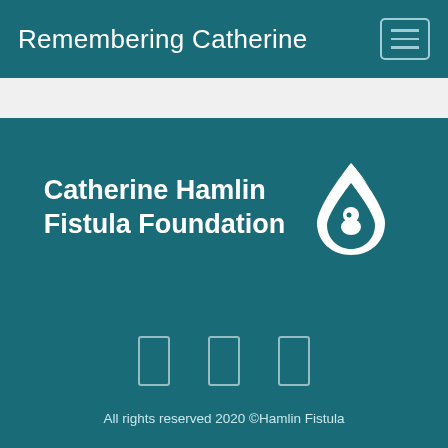Remembering Catherine
[Figure (logo): Catherine Hamlin Fistula Foundation logo — white text and white drop/baby icon on teal background]
[Figure (other): Three social media icon placeholders (rectangular outlines) on teal background]
All rights reserved 2020 ©Hamlin Fistula